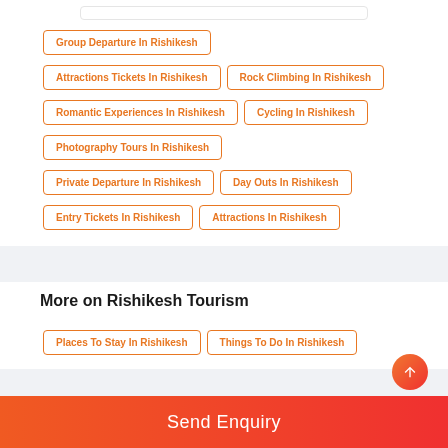Group Departure In Rishikesh
Attractions Tickets In Rishikesh
Rock Climbing In Rishikesh
Romantic Experiences In Rishikesh
Cycling In Rishikesh
Photography Tours In Rishikesh
Private Departure In Rishikesh
Day Outs In Rishikesh
Entry Tickets In Rishikesh
Attractions In Rishikesh
More on Rishikesh Tourism
Places To Stay In Rishikesh
Things To Do In Rishikesh
Send Enquiry